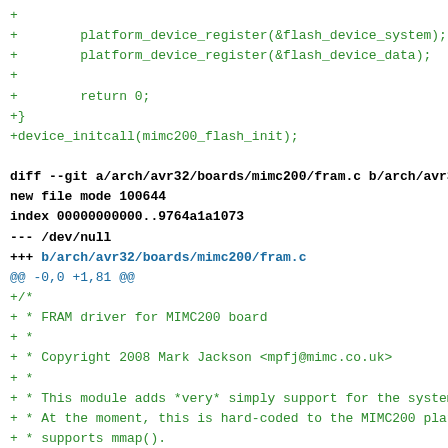+
+		platform_device_register(&flash_device_system);
+		platform_device_register(&flash_device_data);
+
+		return 0;
+}
+device_initcall(mimc200_flash_init);

diff --git a/arch/avr32/boards/mimc200/fram.c b/arch/avr32/bo
new file mode 100644
index 00000000000..9764a1a1073
--- /dev/null
+++ b/arch/avr32/boards/mimc200/fram.c
@@ -0,0 +1,81 @@
+/*
+ * FRAM driver for MIMC200 board
+ *
+ * Copyright 2008 Mark Jackson <mpfj@mimc.co.uk>
+ *
+ * This module adds *very* simply support for the system's F
+ * At the moment, this is hard-coded to the MIMC200 platform
+ * supports mmap().
+ */
+
+#define FRAM_VERSION   "1.0"